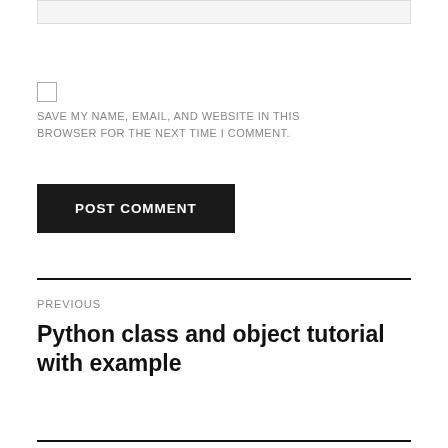SAVE MY NAME, EMAIL, AND WEBSITE IN THIS BROWSER FOR THE NEXT TIME I COMMENT.
POST COMMENT
PREVIOUS
Python class and object tutorial with example